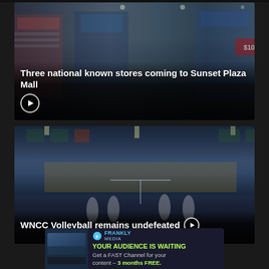[Figure (screenshot): Video thumbnail of shopping mall interior with stores visible, used as background for a news story card]
Three national known stores coming to Sunset Plaza Mall
[Figure (screenshot): Video thumbnail of indoor volleyball court/gymnasium with players on court and yellow bleachers visible]
WNCC Volleyball remains undefeated
[Figure (screenshot): Advertisement banner for Frankly Media: YOUR AUDIENCE IS WAITING - Get a FAST Channel for your content - 3 months FREE.]